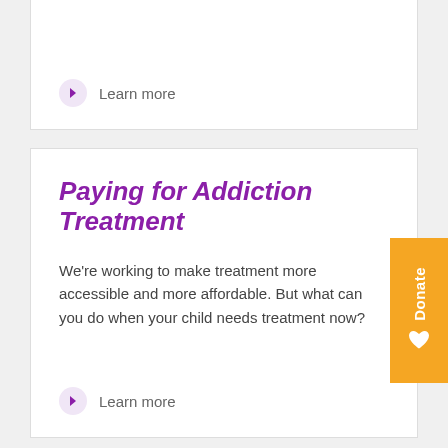Learn more
Paying for Addiction Treatment
We're working to make treatment more accessible and more affordable. But what can you do when your child needs treatment now?
Learn more